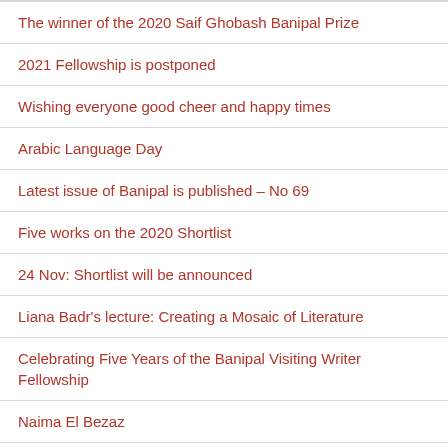The winner of the 2020 Saif Ghobash Banipal Prize
2021 Fellowship is postponed
Wishing everyone good cheer and happy times
Arabic Language Day
Latest issue of Banipal is published – No 69
Five works on the 2020 Shortlist
24 Nov: Shortlist will be announced
Liana Badr's lecture: Creating a Mosaic of Literature
Celebrating Five Years of the Banipal Visiting Writer Fellowship
Naima El Bezaz
Summer issue of Banipal is published
Elias Farkouh